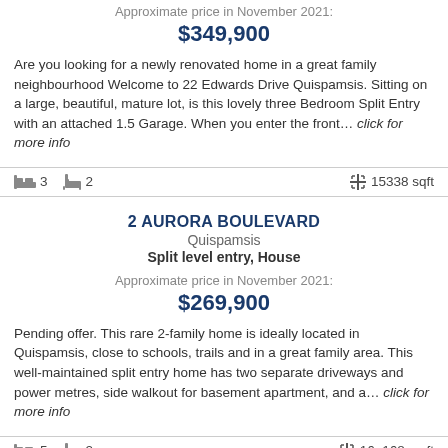Approximate price in November 2021:
$349,900
Are you looking for a newly renovated home in a great family neighbourhood Welcome to 22 Edwards Drive Quispamsis. Sitting on a large, beautiful, mature lot, is this lovely three Bedroom Split Entry with an attached 1.5 Garage. When you enter the front... click for more info
3 bedrooms, 2 bathrooms, 15338 sqft
2 AURORA BOULEVARD
Quispamsis
Split level entry, House
Approximate price in November 2021:
$269,900
Pending offer. This rare 2-family home is ideally located in Quispamsis, close to schools, trails and in a great family area. This well-maintained split entry home has two separate driveways and power metres, side walkout for basement apartment, and a... click for more info
5 bedrooms, 2 bathrooms, 16, 168 sq ft
37 MILLICAN
Quispamsis
Split level entry, House
Approximate price in November 2021: